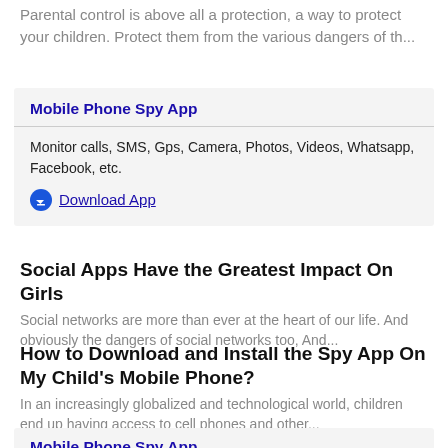Parental control is above all a protection, a way to protect your children. Protect them from the various dangers of th...
Mobile Phone Spy App
Monitor calls, SMS, Gps, Camera, Photos, Videos, Whatsapp, Facebook, etc.
Download App
Social Apps Have the Greatest Impact On Girls
Social networks are more than ever at the heart of our life. And obviously the dangers of social networks too, And...
How to Download and Install the Spy App On My Child's Mobile Phone?
In an increasingly globalized and technological world, children end up having access to cell phones and other...
Mobile Phone Spy App